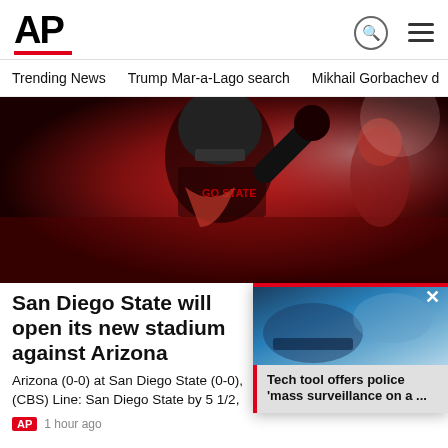AP
Trending News  Trump Mar-a-Lago search  Mikhail Gorbachev d
[Figure (photo): San Diego State football player in black and red uniform with helmet, raising hand, wearing jersey with 'SDSU' or 'GO STATE' text]
San Diego State will open its new stadium against Arizona
Arizona (0-0) at San Diego State (0-0), (CBS) Line: San Diego State by 5 1/2,
AP  1 hour ago
Ad Content
[Figure (screenshot): Floating popup overlay showing a blurred blue background image with close button X, a red left border, and headline text: Tech tool offers police 'mass surveillance on a ...']